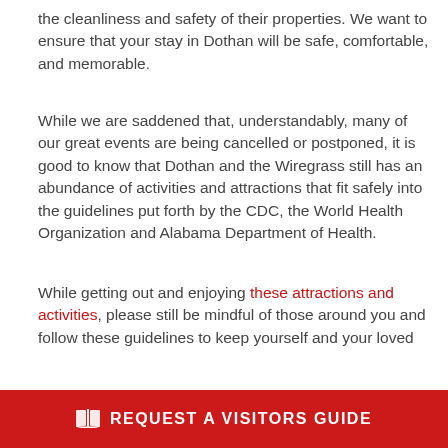the cleanliness and safety of their properties. We want to ensure that your stay in Dothan will be safe, comfortable, and memorable.
While we are saddened that, understandably, many of our great events are being cancelled or postponed, it is good to know that Dothan and the Wiregrass still has an abundance of activities and attractions that fit safely into the guidelines put forth by the CDC, the World Health Organization and Alabama Department of Health.
While getting out and enjoying these attractions and activities, please still be mindful of those around you and follow these guidelines to keep yourself and your loved
REQUEST A VISITORS GUIDE